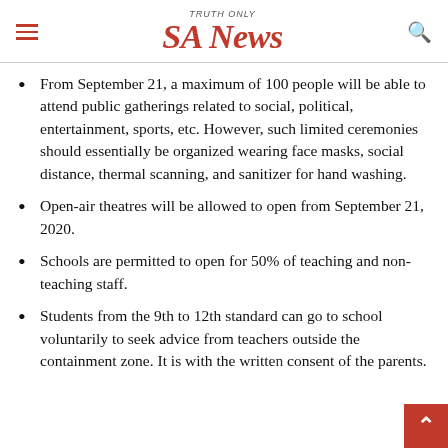SA News — TRUTH ONLY
From September 21, a maximum of 100 people will be able to attend public gatherings related to social, political, entertainment, sports, etc. However, such limited ceremonies should essentially be organized wearing face masks, social distance, thermal scanning, and sanitizer for hand washing.
Open-air theatres will be allowed to open from September 21, 2020.
Schools are permitted to open for 50% of teaching and non-teaching staff.
Students from the 9th to 12th standard can go to school voluntarily to seek advice from teachers outside the containment zone. It is with the written consent of the parents.